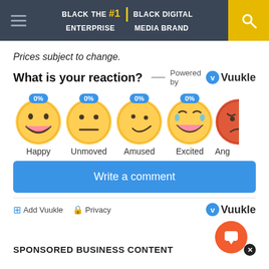BLACK ENTERPRISE THE #1 BLACK DIGITAL MEDIA BRAND
Prices subject to change.
What is your reaction? Powered by Vuukle
[Figure (infographic): Emoji reaction widget with five emojis: Happy 0%, Unmoved 0%, Amused 0%, Excited 0%, Angry (partially clipped)]
Write a comment
Add Vuukle  Privacy  Vuukle
SPONSORED BUSINESS CONTENT